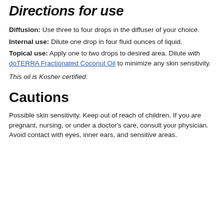Directions for use
Diffusion: Use three to four drops in the diffuser of your choice.
Internal use: Dilute one drop in four fluid ounces of liquid.
Topical use: Apply one to two drops to desired area. Dilute with doTERRA Fractionated Coconut Oil to minimize any skin sensitivity.
This oil is Kosher certified.
Cautions
Possible skin sensitivity. Keep out of reach of children. If you are pregnant, nursing, or under a doctor's care, consult your physician. Avoid contact with eyes, inner ears, and sensitive areas.